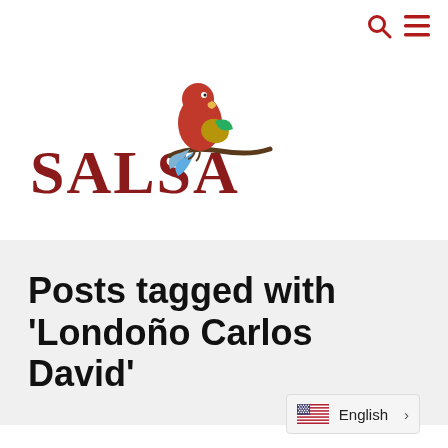SALSA [logo with parrot]
Posts tagged with ‘Londoño Carlos David’
English